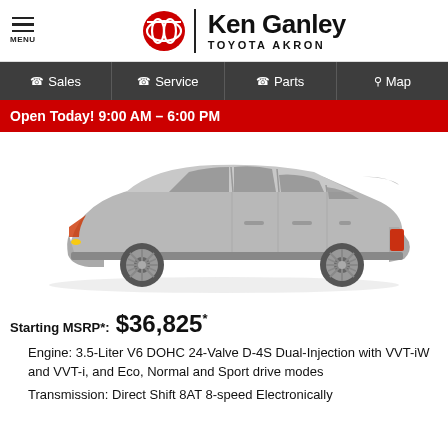MENU | Ken Ganley TOYOTA AKRON
Sales | Service | Parts | Map
Open Today! 9:00 AM – 6:00 PM
[Figure (photo): Side profile photo of a silver Toyota Camry sedan]
Starting MSRP*: $36,825*
Engine: 3.5-Liter V6 DOHC 24-Valve D-4S Dual-Injection with VVT-iW and VVT-i, and Eco, Normal and Sport drive modes
Transmission: Direct Shift 8AT 8-speed Electronically